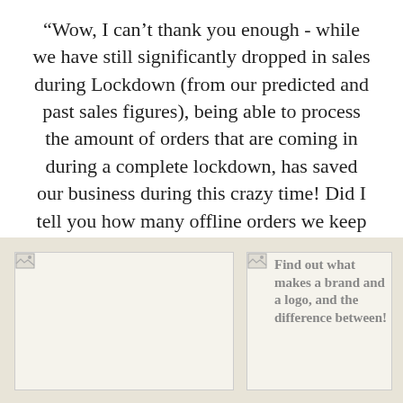“Wow, I can’t thank you enough - while we have still significantly dropped in sales during Lockdown (from our predicted and past sales figures), being able to process the amount of orders that are coming in during a complete lockdown, has saved our business during this crazy time! Did I tell you how many offline orders we keep getting on the phones?!” Penny.
[Figure (photo): Broken image placeholder on the left in a tan/beige background strip]
[Figure (photo): Broken image placeholder on the right with overlay text: Find out what makes a brand and a logo, and the difference between!]